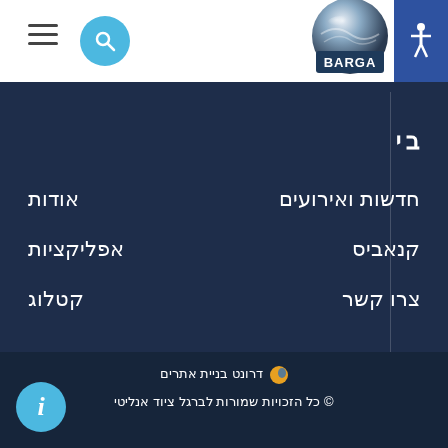[Figure (screenshot): Website navigation screenshot with header bar containing hamburger menu, search button, BARGA logo, accessibility icon, and dark blue navigation menu with Hebrew text links]
חדשות ואירועים
קנאביס
צרו קשר
אודות
אפליקציות
קטלוג
🟠 דרונט בניית אתרים
© כל הזכויות שמורות לברגל ציוד אנליטי